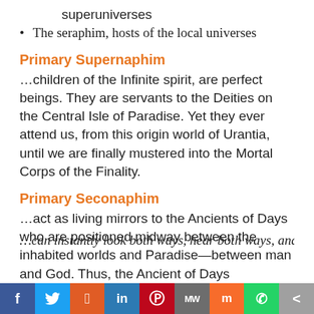superuniverses
The seraphim, hosts of the local universes
Primary Supernaphim
…children of the Infinite spirit, are perfect beings. They are servants to the Deities on the Central Isle of Paradise. Yet they ever attend us, from this origin world of Urantia, until we are finally mustered into the Mortal Corps of the Finality.
Primary Seconaphim
…act as living mirrors to the Ancients of Days who are positioned midway between the inhabited worlds and Paradise—between man and God. Thus, the Ancient of Days
…can instantly look both ways, hear both ways, and
f  Twitter  Reddit  in  Pinterest  MW  Mix  WhatsApp  Share